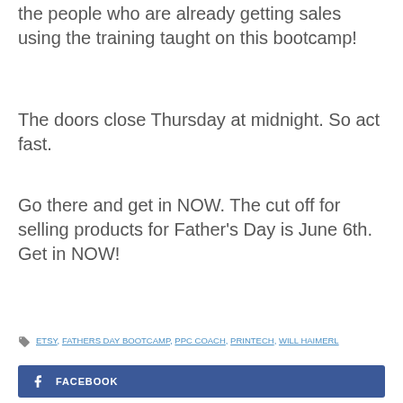the people who are already getting sales using the training taught on this bootcamp!
The doors close Thursday at midnight. So act fast.
Go there and get in NOW. The cut off for selling products for Father's Day is June 6th. Get in NOW!
ETSY, FATHERS DAY BOOTCAMP, PPC COACH, PRINTECH, WILL HAIMERL
FACEBOOK
TWITTER